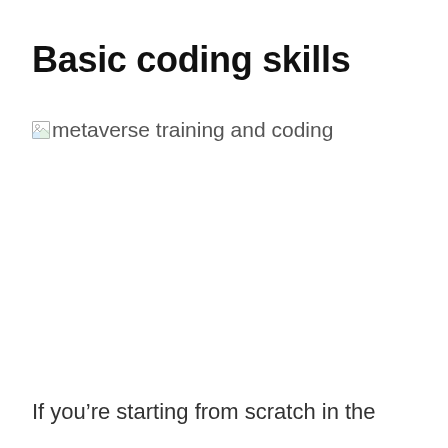Basic coding skills
[Figure (photo): Broken image placeholder with alt text: metaverse training and coding]
If you’re starting from scratch in the